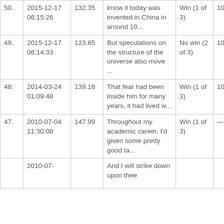| 50. | 2015-12-17 06:15:26 | 132.35 | know it today was invented in China in around 10... | Win (1 of 3) | 100% | — |
| 49. | 2015-12-17 06:14:33 | 123.85 | But speculations on the structure of the universe also move ... | No win (2 of 3) | 100% | — |
| 48. | 2014-03-24 01:09:48 | 139.16 | That fear had been inside him for many years, it had lived w... | Win (1 of 3) | 100% | — |
| 47. | 2010-07-04 11:30:00 | 147.99 | Throughout my academic career, I'd given some pretty good ta... | Win (1 of 3) | — | — |
|  | 2010-07- |  | And I will strike down upon thee |  |  |  |